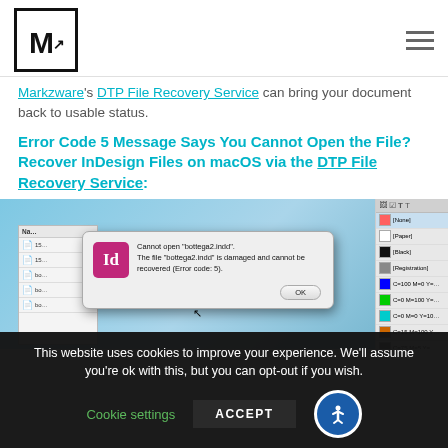[Figure (logo): Markzware logo: bold M with upward arrow in a square box]
Markzware's DTP File Recovery Service can bring your document back to usable status.
Error Code 5 Message Says You Cannot Open the File? Recover InDesign Files on macOS via the DTP File Recovery Service:
[Figure (screenshot): Screenshot showing Adobe InDesign error dialog: 'Cannot open "bottega2.indd". The file "bottega2.indd" is damaged and cannot be recovered (Error code: 5).' with an OK button. Background shows a file browser and swatches panel.]
This website uses cookies to improve your experience. We'll assume you're ok with this, but you can opt-out if you wish.
Cookie settings
ACCEPT